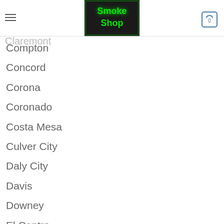Smoke Shop - navigation header with logo and cart
Chico
Chula Vista
Claremont
Compton
Concord
Corona
Coronado
Costa Mesa
Culver City
Daly City
Davis
Downey
El Centro
El Cerrito
El Monte
Escondido
Eureka
Fairfield